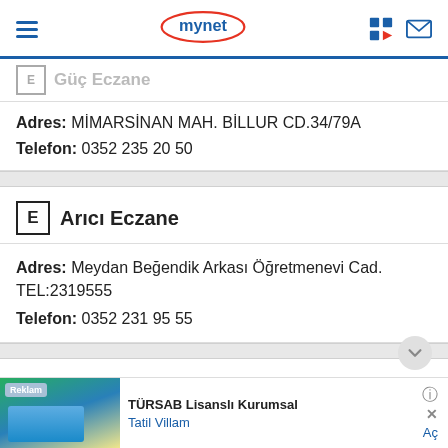mynet
Adres: MİMARSİNAN MAH. BİLLUR CD.34/79A
Telefon: 0352 235 20 50
E Arıcı Eczane
Adres: Meydan Beğendik Arkası Öğretmenevi Cad. TEL:2319555
Telefon: 0352 231 95 55
[Figure (screenshot): Advertisement banner for TÜRSAB Lisanslı Kurumsal / Tatil Villam with a pool photo]